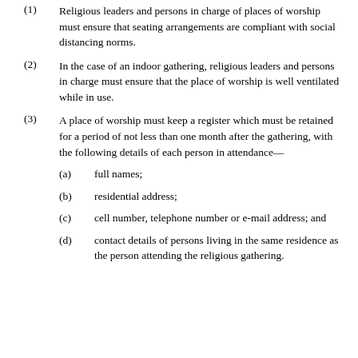(1) Religious leaders and persons in charge of places of worship must ensure that seating arrangements are compliant with social distancing norms.
(2) In the case of an indoor gathering, religious leaders and persons in charge must ensure that the place of worship is well ventilated while in use.
(3) A place of worship must keep a register which must be retained for a period of not less than one month after the gathering, with the following details of each person in attendance—
(a) full names;
(b) residential address;
(c) cell number, telephone number or e-mail address; and
(d) contact details of persons living in the same residence as the person attending the religious gathering.